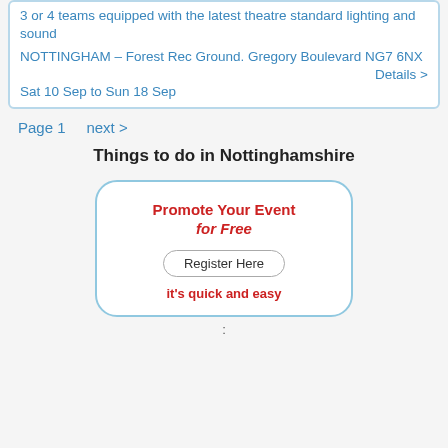3 or 4 teams equipped with the latest theatre standard lighting and sound
NOTTINGHAM – Forest Rec Ground. Gregory Boulevard NG7 6NX
Details >
Sat 10 Sep to Sun 18 Sep
Page 1   next >
Things to do in Nottinghamshire
[Figure (infographic): Promotional box with rounded border saying 'Promote Your Event for Free', a 'Register Here' button, and 'it's quick and easy' text]
: